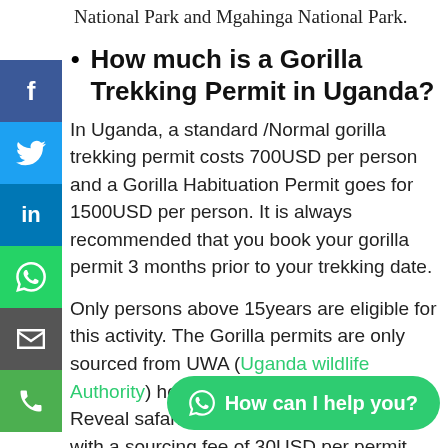National Park and Mgahinga National Park.
How much is a Gorilla Trekking Permit in Uganda?
In Uganda, a standard /Normal gorilla trekking permit costs 700USD per person and a Gorilla Habituation Permit goes for 1500USD per person. It is always recommended that you book your gorilla permit 3 months prior to your trekking date.
Only persons above 15years are eligible for this activity. The Gorilla permits are only sourced from UWA (Uganda wildlife Authority) head offices in Kampala. Africa Reveal safaris is eligible to source permits with a sourcing fee of 30USD per permit.